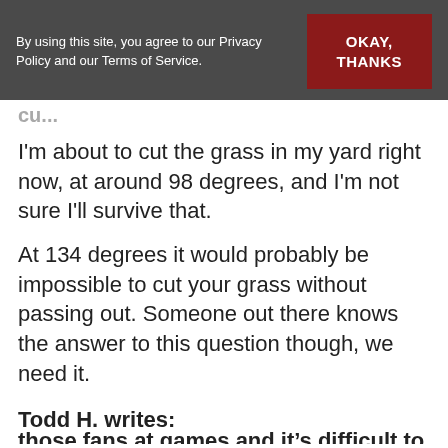By using this site, you agree to our Privacy Policy and our Terms of Service. OKAY, THANKS
I'm about to cut the grass in my yard right now, at around 98 degrees, and I'm not sure I'll survive that.
At 134 degrees it would probably be impossible to cut your grass without passing out. Someone out there knows the answer to this question though, we need it.
Todd H. writes:
Hi Clay,  Let me start by apologizing for the behavior of my fellow Alabama "fans."  I sit behind some of those fans at games and it's difficult to keep my...